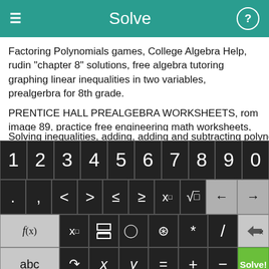Solve
Factoring Polynomials games, College Algebra Help, rudin "chapter 8" solutions, free algebra tutoring graphing linear inequalities in two variables, prealgerbra for 8th grade.
PRENTICE HALL PREALGEBRA WORKSHEETS, rom image 89, practice free engineering math worksheets, HRW Modern Chemistry chapter 5 review answers, solve algebra problems free, sample paper for mathmatics, practice pre-algreba.
[Figure (screenshot): Math keyboard with rows: digits 1-0, symbols (. , < > ≤ ≥ x^□ √ ← →), function keys (f(x) x_□ fraction absolute-value parentheses * / backspace), bottom row (abc ↺ x y = + − Solve! button)]